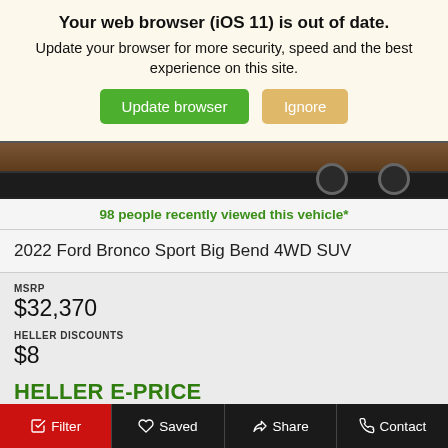Your web browser (iOS 11) is out of date.
Update your browser for more security, speed and the best experience on this site.
98 people recently viewed this vehicle*
2022 Ford Bronco Sport Big Bend 4WD SUV
MSRP
$32,370
HELLER DISCOUNTS
$8
HELLER E-PRICE
$32,362
[Figure (screenshot): Partial screenshot of a vehicle (dark/brown SUV from rear quarter angle)]
Filter  Saved  Share  Contact